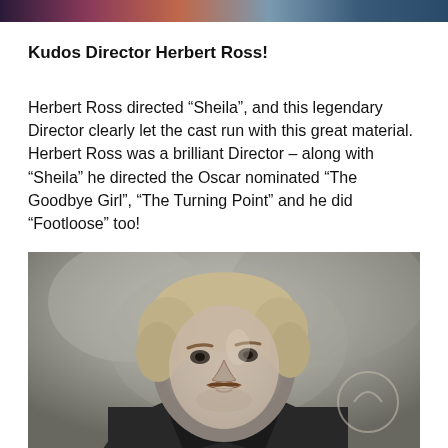[Figure (photo): Colorful banner/header image strip at top of page]
Kudos Director Herbert Ross!
Herbert Ross directed “Sheila”, and this legendary Director clearly let the cast run with this great material. Herbert Ross was a brilliant Director – along with “Sheila” he directed the Oscar nominated “The Goodbye Girl”, “The Turning Point” and he did “Footloose” too!
[Figure (photo): Black and white photograph of a man with a mustache and medium-length hair, wearing a leather jacket, looking upward, outdoors with blurred background]